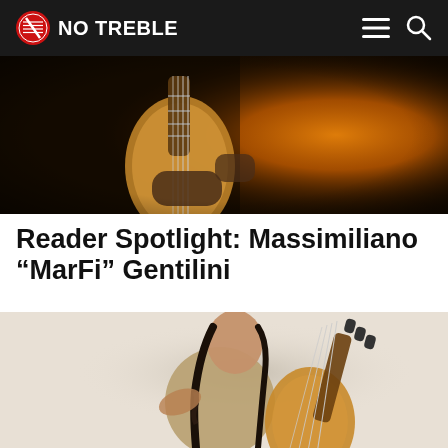NO TREBLE
[Figure (photo): Close-up of a person playing a bass guitar under dramatic orange/amber stage lighting with smoke in the background]
Reader Spotlight: Massimiliano “MarFi” Gentilini
[Figure (photo): A young woman with long braided dark hair sitting cross-legged, holding a bass guitar, against a light beige/cream background]